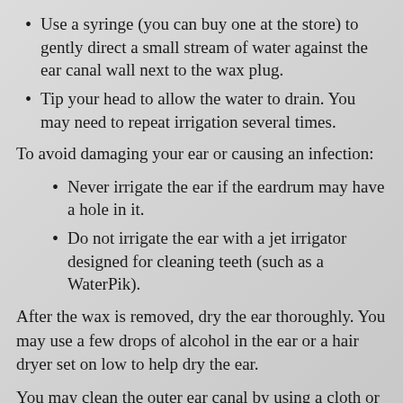Use a syringe (you can buy one at the store) to gently direct a small stream of water against the ear canal wall next to the wax plug.
Tip your head to allow the water to drain. You may need to repeat irrigation several times.
To avoid damaging your ear or causing an infection:
Never irrigate the ear if the eardrum may have a hole in it.
Do not irrigate the ear with a jet irrigator designed for cleaning teeth (such as a WaterPik).
After the wax is removed, dry the ear thoroughly. You may use a few drops of alcohol in the ear or a hair dryer set on low to help dry the ear.
You may clean the outer ear canal by using a cloth or paper tissue wrapped around your finger. Mineral oil